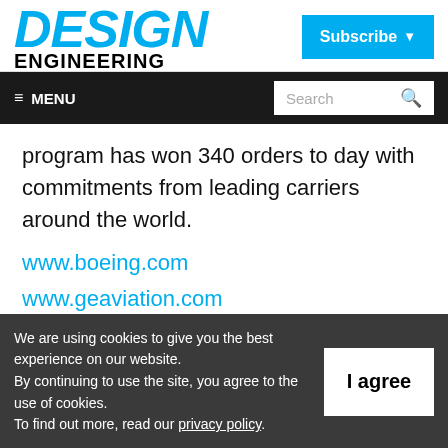DESIGN ENGINEERING
Subscribe
≡ MENU   Search
program has won 340 orders to day with commitments from leading carriers around the world.
www.boeing.com
www.geaviation.com
We are using cookies to give you the best experience on our website.
By continuing to use the site, you agree to the use of cookies.
To find out more, read our privacy policy.
I agree